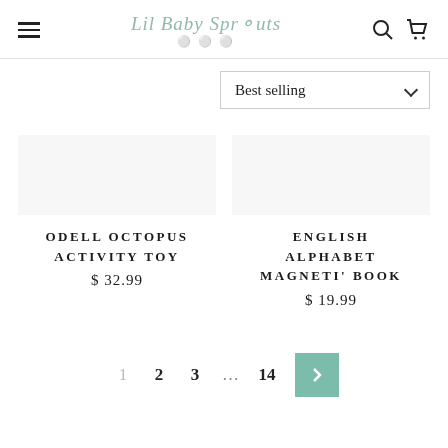Lil Baby Sprouts — Navigation header with hamburger menu, logo, search and cart icons
Best selling
ODELL OCTOPUS ACTIVITY TOY
$ 32.99
ENGLISH ALPHABET MAGNETI' BOOK
$ 19.99
1  2  3  ...  14  >